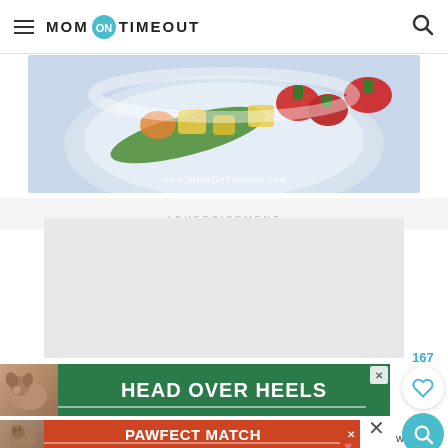MOM ON TIMEOUT
[Figure (photo): Close-up photo of a fruit salad dish with strawberries, pineapple, and other fruits in a white bowl on a light blue background. Website URL www.MomOnTimeout.com overlaid at bottom.]
ADVERTISEMENT
[Figure (other): Advertisement banner: HEAD OVER HEELS with dog image on green background]
[Figure (other): Advertisement banner: PAWFECT MATCH with cat image on orange-red background]